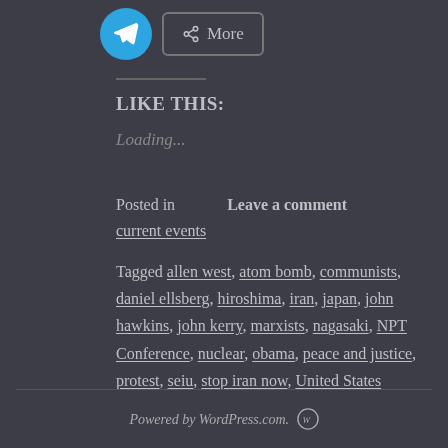[Figure (other): Telegram share button (blue circle with paper plane icon) and a More share button]
LIKE THIS:
Loading...
Posted in   Leave a comment
current events
Tagged allen west, atom bomb, communists, daniel ellsberg, hiroshima, iran, japan, john hawkins, john kerry, marxists, nagasaki, NPT Conference, nuclear, obama, peace and justice, protest, seiu, stop iran now, United States
Powered by WordPress.com.